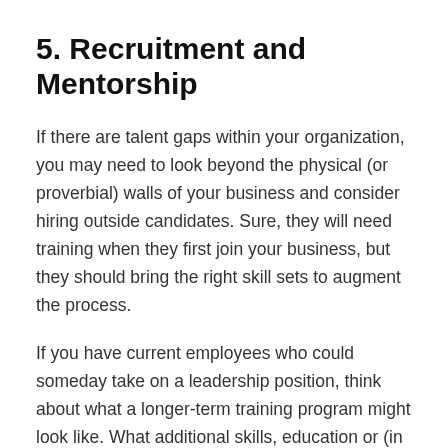5. Recruitment and Mentorship
If there are talent gaps within your organization, you may need to look beyond the physical (or proverbial) walls of your business and consider hiring outside candidates. Sure, they will need training when they first join your business, but they should bring the right skill sets to augment the process.
If you have current employees who could someday take on a leadership position, think about what a longer-term training program might look like. What additional skills, education or (in some cases)